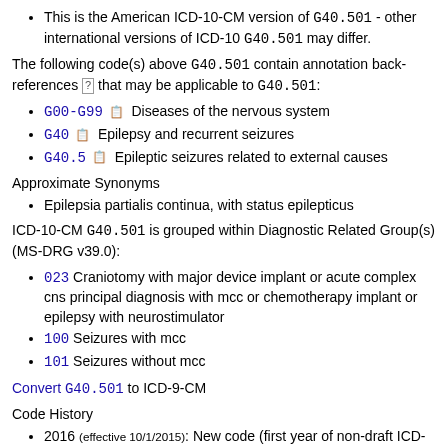This is the American ICD-10-CM version of G40.501 - other international versions of ICD-10 G40.501 may differ.
The following code(s) above G40.501 contain annotation back-references [?] that may be applicable to G40.501:
G00-G99 Diseases of the nervous system
G40 Epilepsy and recurrent seizures
G40.5 Epileptic seizures related to external causes
Approximate Synonyms
Epilepsia partialis continua, with status epilepticus
ICD-10-CM G40.501 is grouped within Diagnostic Related Group(s) (MS-DRG v39.0):
023 Craniotomy with major device implant or acute complex cns principal diagnosis with mcc or chemotherapy implant or epilepsy with neurostimulator
100 Seizures with mcc
101 Seizures without mcc
Convert G40.501 to ICD-9-CM
Code History
2016 (effective 10/1/2015): New code (first year of non-draft ICD-10-CM)